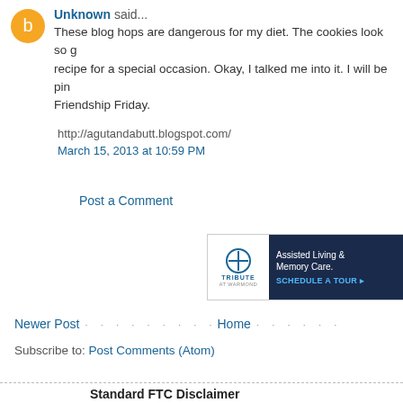Unknown said...
These blog hops are dangerous for my diet. The cookies look so g... recipe for a special occasion. Okay, I talked me into it. I will be pin... Friendship Friday.

http://agutandabutt.blogspot.com/
March 15, 2013 at 10:59 PM
Post a Comment
[Figure (other): Advertisement for Tribute at Warmond - Assisted Living & Memory Care. Schedule a Tour.]
Newer Post · · · · · · · · · Home · · · · · ·
Subscribe to: Post Comments (Atom)
Standard FTC Disclaimer